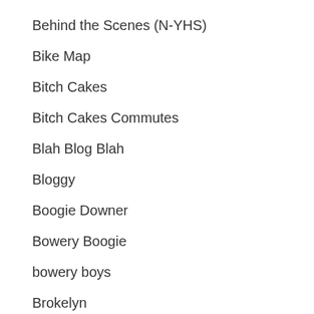Behind the Scenes (N-YHS)
Bike Map
Bitch Cakes
Bitch Cakes Commutes
Blah Blog Blah
Bloggy
Boogie Downer
Bowery Boogie
bowery boys
Brokelyn
Bronx Bohemian
Bronx Latino
Bronx Mama
Brooklyn Based
Brooklyn by Bike